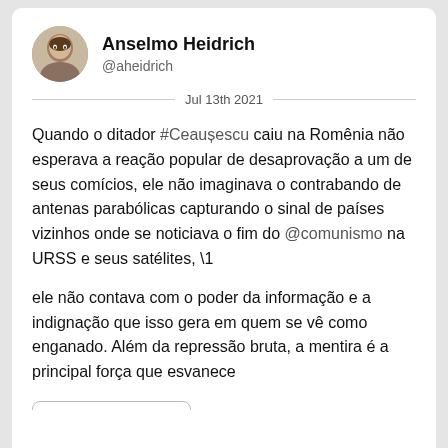Anselmo Heidrich @aheidrich
Jul 13th 2021
Quando o ditador #Ceaușescu caiu na Romênia não esperava a reação popular de desaprovação a um de seus comícios, ele não imaginava o contrabando de antenas parabólicas capturando o sinal de países vizinhos onde se noticiava o fim do @comunismo na URSS e seus satélites, \1
ele não contava com o poder da informação e a indignação que isso gera em quem se vê como enganado. Além da repressão bruta, a mentira é a principal força que esvanece
Read 10 tweets